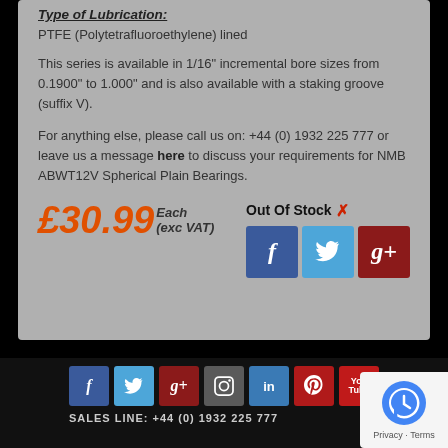Type of Lubrication:
PTFE (Polytetrafluoroethylene) lined
This series is available in 1/16" incremental bore sizes from 0.1900" to 1.000" and is also available with a staking groove (suffix V).
For anything else, please call us on: +44 (0) 1932 225 777 or leave us a message here to discuss your requirements for NMB ABWT12V Spherical Plain Bearings.
£30.99 Each (exc VAT)
Out Of Stock ✗
[Figure (infographic): Social share buttons: Facebook, Twitter, Google+]
Social icons: Facebook, Twitter, Google+, Instagram, LinkedIn, Pinterest, YouTube | SALES LINE: +44 (0) 1932 225 777